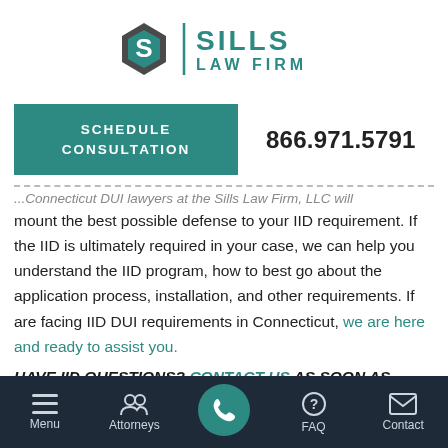[Figure (logo): Sills Law Firm logo with hexagonal S icon and teal text]
SCHEDULE CONSULTATION
866.971.5791
...Connecticut DUI lawyers at the Sills Law Firm, LLC will mount the best possible defense to your IID requirement. If the IID is ultimately required in your case, we can help you understand the IID program, how to best go about the application process, installation, and other requirements. If are facing IID DUI requirements in Connecticut, we are here and ready to assist you.
HAVE IID QUESTIONS? CONTACT US AS SOON AS
Menu | Attorneys | (phone) | FAQ | Contact